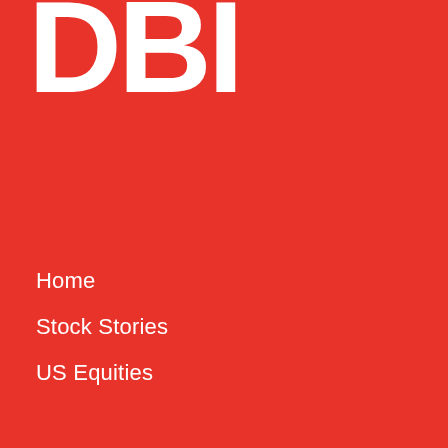DBI
Home
Stock Stories
US Equities